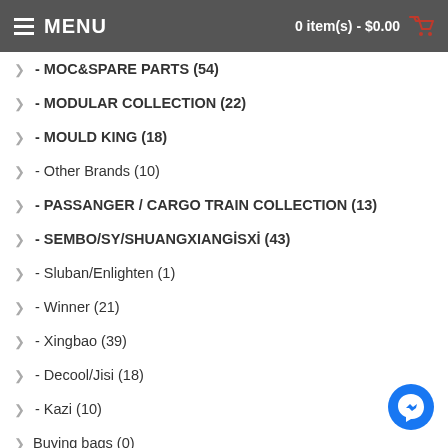MENU  0 item(s) - $0.00
> - MOC&SPARE PARTS (54)
> - MODULAR COLLECTION (22)
> - MOULD KING (18)
> - Other Brands (10)
> - PASSANGER / CARGO TRAIN COLLECTION (13)
> - SEMBO/SY/SHUANGXIANGİSXİ (43)
> - Sluban/Enlighten (1)
> - Winner (21)
> - Xingbao (39)
> - Decool/Jisi (18)
> - Kazi (10)
> Buying bags (0)